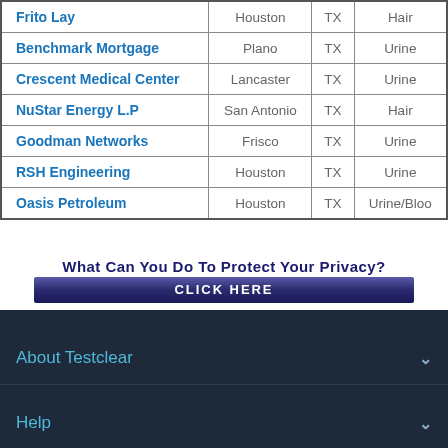| Company | City | State | Test Type |
| --- | --- | --- | --- |
| Frito Lay | Houston | TX | Hair |
| Benchmark Mortgage | Plano | TX | Urine |
| Crescent Medical Center | Lancaster | TX | Urine |
| NuStar Energy L.P | San Antonio | TX | Hair |
| Goodman Networks | Frisco | TX | Urine |
| RSH Engineering | Houston | TX | Urine |
| Oasis Petroleum | Houston | TX | Urine/Blood |
What can you do to protect your privacy? CLICK HERE
About Testclear
Help